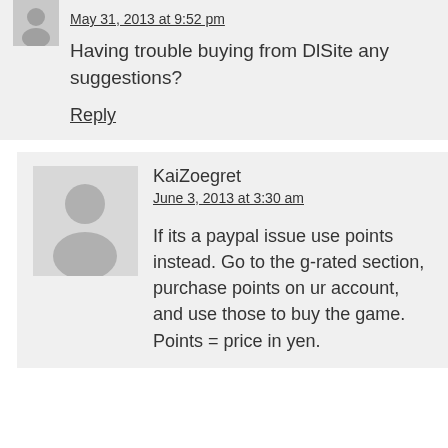May 31, 2013 at 9:52 pm
Having trouble buying from DlSite any suggestions?
Reply
KaiZoegret
June 3, 2013 at 3:30 am
If its a paypal issue use points instead. Go to the g-rated section, purchase points on ur account, and use those to buy the game. Points = price in yen.